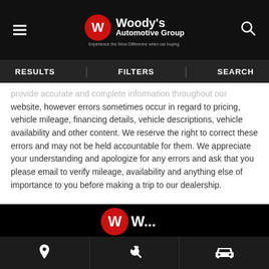Woody's Automotive Group — Experience the Wow Difference when car buying.
RESULTS   FILTERS   SEARCH
provide accurate and complete information throughout our website, however errors sometimes occur in regard to pricing, vehicle mileage, financing details, vehicle descriptions, vehicle availability and other content. We reserve the right to correct these errors and may not be held accountable for them. We appreciate your understanding and apologize for any errors and ask that you please email to verify mileage, availability and anything else of importance to you before making a trip to our dealership.
[Figure (logo): Woody's Automotive Group logo in footer]
Location icon | Wrench icon | Car icon